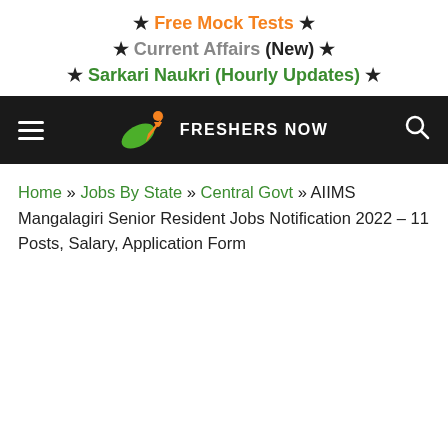★ Free Mock Tests ★
★ Current Affairs (New) ★
★ Sarkari Naukri (Hourly Updates) ★
[Figure (logo): Freshers Now website navigation bar with hamburger menu, logo (green leaf with orange figure), FRESHERS NOW text, and search icon on dark background]
Home » Jobs By State » Central Govt » AIIMS Mangalagiri Senior Resident Jobs Notification 2022 – 11 Posts, Salary, Application Form